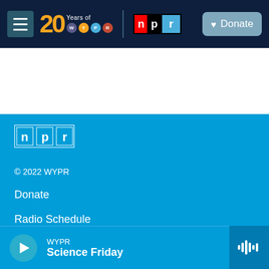WYPR 20 Years of WYPR | NPR | Donate
[Figure (logo): NPR logo on blue footer background]
© 2022 WYPR
Donate
Radio Schedule
WYPR
Science Friday